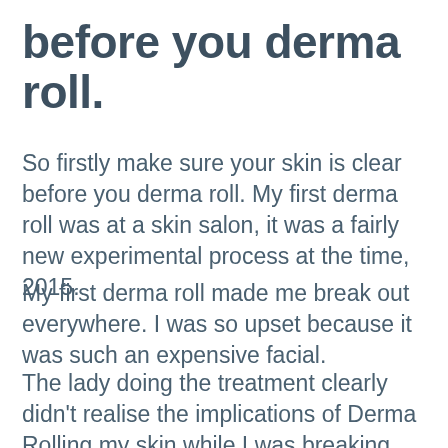before you derma roll.
So firstly make sure your skin is clear before you derma roll. My first derma roll was at a skin salon, it was a fairly new experimental process at the time, 2015.
My first derma roll made me break out everywhere. I was so upset because it was such an expensive facial.
The lady doing the treatment clearly didn't realise the implications of Derma Rolling my skin while I was breaking out. Big